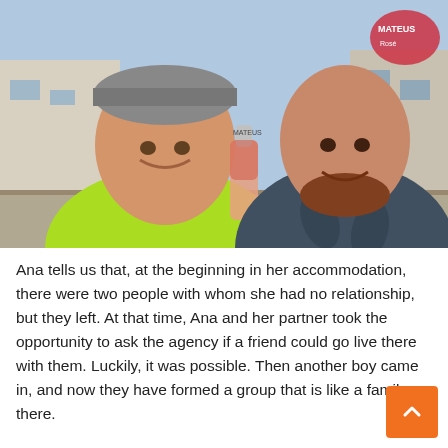[Figure (photo): Two smiling men taking a selfie outdoors. The man on the left wears a bright neon green shirt and a grey cap, and is holding a bottle of rosé wine (Mateus brand) toward the camera. The man on the right has a shaved head with a beard and wears a dark patterned shirt. Buildings are visible in the background.]
Ana tells us that, at the beginning in her accommodation, there were two people with whom she had no relationship, but they left. At that time, Ana and her partner took the opportunity to ask the agency if a friend could go live there with them. Luckily, it was possible. Then another boy came in, and now they have formed a group that is like a family there.